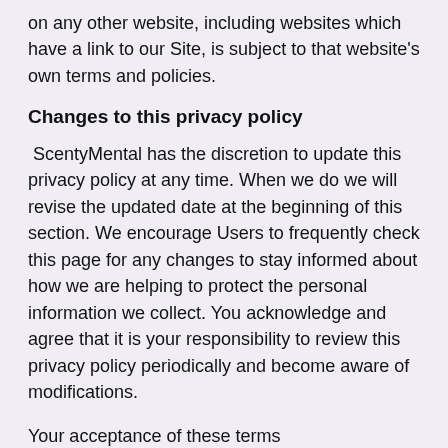on any other website, including websites which have a link to our Site, is subject to that website's own terms and policies.
Changes to this privacy policy
ScentyMental has the discretion to update this privacy policy at any time. When we do we will revise the updated date at the beginning of this section. We encourage Users to frequently check this page for any changes to stay informed about how we are helping to protect the personal information we collect. You acknowledge and agree that it is your responsibility to review this privacy policy periodically and become aware of modifications.
Your acceptance of these terms